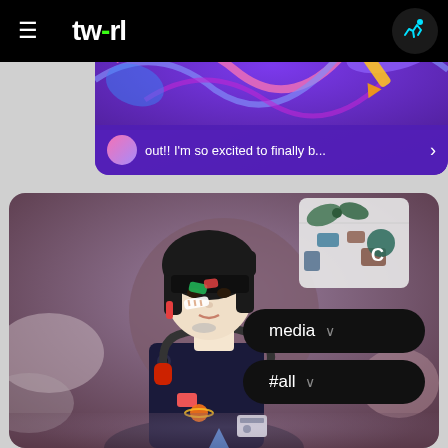[Figure (screenshot): tw-rl app navigation bar with hamburger menu, tw-rl logo in white pill on black background, and runner icon on the right]
[Figure (screenshot): Top banner card showing abstract colorful digital art with purple background and preview text 'out!! I'm so excited to finally b...' with arrow]
[Figure (illustration): Digital illustration of a young woman with black bob hair, colorful band-aid stickers on face, wearing dark outfit with badges and headphones around neck, school uniform elements floating in background, soft purple background with paint blobs]
media
#all